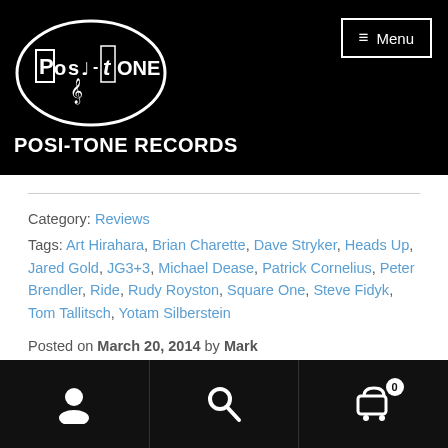POSI-TONE RECORDS
Category: Reviews
Tags: Art Hirahara, Brian Charette, Dave Stryker, Heads Up, Jared Gold, JG3+3, Michael Dease, Patrick Cornelius, Peter Brendler, Ride, Rudy Royston, Square One, Steve Fidyk, Tom Tallitsch, Yotam Silberstein
Posted on March 20, 2014 by Mark